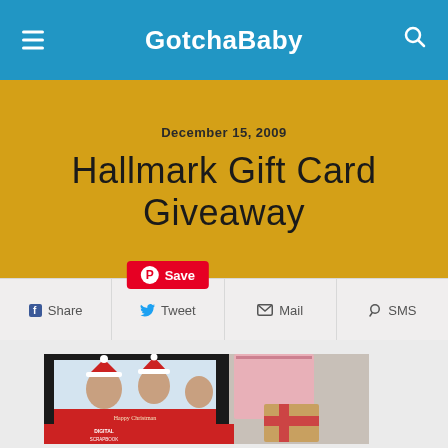GotchaBaby
December 15, 2009
Hallmark Gift Card Giveaway
Share  Tweet  Save  Mail  SMS
[Figure (photo): Photo showing a digital photo frame displaying a Christmas family photo, a Hallmark Digital Scrapbook box, and a wrapped gift with red ribbon on a white surface]